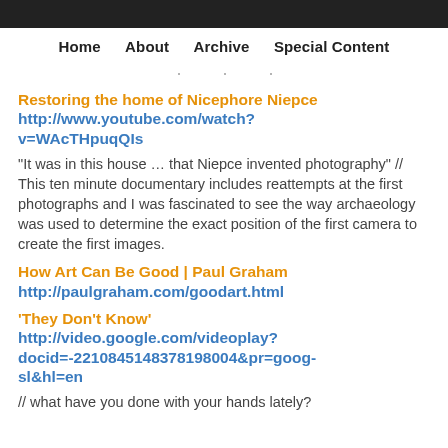Home   About   Archive   Special Content
Restoring the home of Nicephore Niepce
http://www.youtube.com/watch?v=WAcTHpuqQIs
“It was in this house … that Niepce invented photography” // This ten minute documentary includes reattempts at the first photographs and I was fascinated to see the way archaeology was used to determine the exact position of the first camera to create the first images.
How Art Can Be Good | Paul Graham
http://paulgraham.com/goodart.html
'They Don’t Know'
http://video.google.com/videoplay?docid=-2210845148378198004&pr=goog-sl&hl=en
// what have you done with your hands lately?